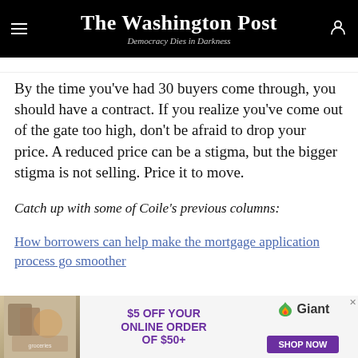The Washington Post — Democracy Dies in Darkness
By the time you've had 30 buyers come through, you should have a contract. If you realize you've come out of the gate too high, don't be afraid to drop your price. A reduced price can be a stigma, but the bigger stigma is not selling. Price it to move.
Catch up with some of Coile's previous columns:
How borrowers can help make the mortgage application process go smoother
[Figure (photo): Giant Food advertisement banner: $5 OFF YOUR ONLINE ORDER OF $50+ SHOP NOW]